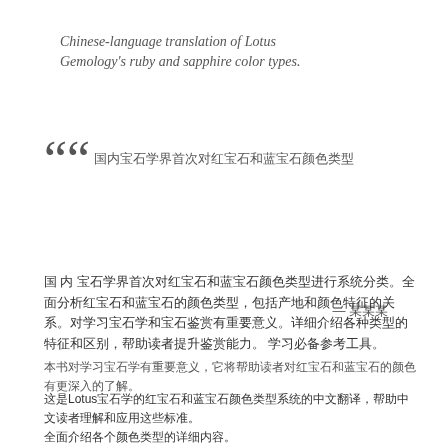Chinese-language translation of Lotus Gemology's ruby and sapphire color types.
““国内宝石学界首首次次 — 某某某
国 内 宝石学界首次对红宝石和蓝宝石颜色类型进行系统分类。全面分析红宝石和蓝宝石的颜色类型，包括产地和颜色特征的关系。对学习宝石学和宝石鉴赏有重要意义。
本书是国内宝石学界首次对Lotus Gemology的红宝石和蓝宝石颜色类型进行中文翻译，并进行系统分类。